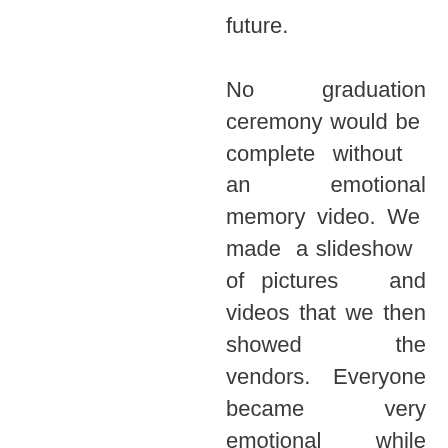future. No graduation ceremony would be complete without an emotional memory video. We made a slideshow of pictures and videos that we then showed the vendors. Everyone became very emotional while watching it, especially